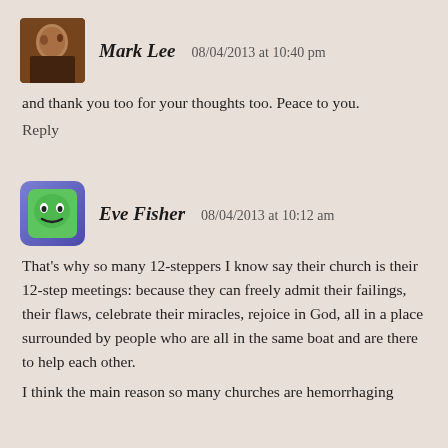[Figure (photo): Avatar photo of Mark Lee, a person in warm brown tones]
Mark Lee   08/04/2013 at 10:40 pm
and thank you too for your thoughts too. Peace to you.
Reply
[Figure (illustration): Avatar of Eve Fisher, a cartoon green face emoji on a purple/blue square with rounded corners]
Eve Fisher   08/04/2013 at 10:12 am
That's why so many 12-steppers I know say their church is their 12-step meetings: because they can freely admit their failings, their flaws, celebrate their miracles, rejoice in God, all in a place surrounded by people who are all in the same boat and are there to help each other.
I think the main reason so many churches are hemorrhaging members is because that they exist for giving a good show, that